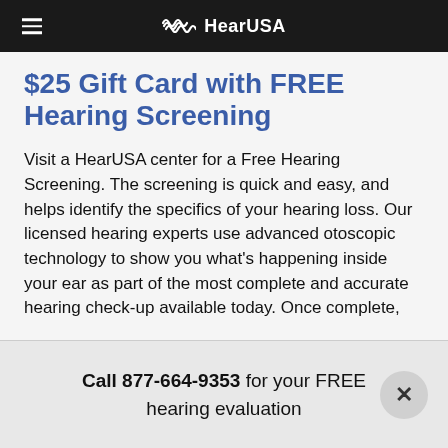HearUSA
$25 Gift Card with FREE Hearing Screening
Visit a HearUSA center for a Free Hearing Screening. The screening is quick and easy, and helps identify the specifics of your hearing loss. Our licensed hearing experts use advanced otoscopic technology to show you what's happening inside your ear as part of the most complete and accurate hearing check-up available today. Once complete,
Call 877-664-9353 for your FREE hearing evaluation